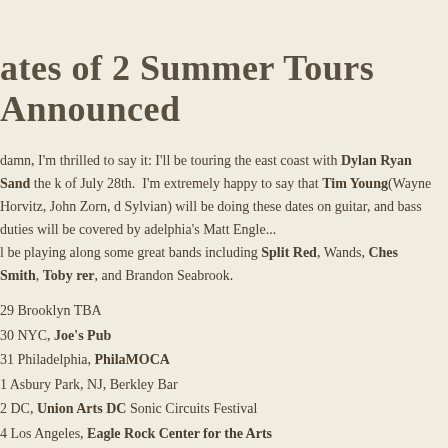ates of 2 Summer Tours Announced
damn, I'm thrilled to say it: I"ll be touring the east coast with Dylan Ryan Sand the k of July 28th.  I'm extremely happy to say that Tim Young(Wayne Horvitz, John Zorn, d Sylvian) will be doing these dates on guitar, and bass duties will be covered by adelphia's Matt Engle... l be playing along some great bands including Split Red, Wands, Ches Smith, Toby rer, and Brandon Seabrook.
29 Brooklyn TBA
30 NYC, Joe's Pub
31 Philadelphia, PhilaMOCA
1 Asbury Park, NJ, Berkley Bar
2 DC, Union Arts DC Sonic Circuits Festival
4 Los Angeles, Eagle Rock Center for the Arts
5 Venice, Del Monte Speakeasy
n our return, Tim and I will be joined by our very excellent friend, Kaveh Rastegar ebody) on bass for shows in Eagle Rock, CA and Venice, CA, and as an extra special